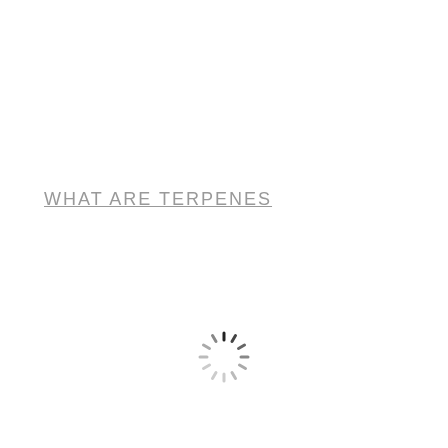WHAT ARE TERPENES
[Figure (other): Loading spinner icon — circular dashed loader graphic in dark gray/black]